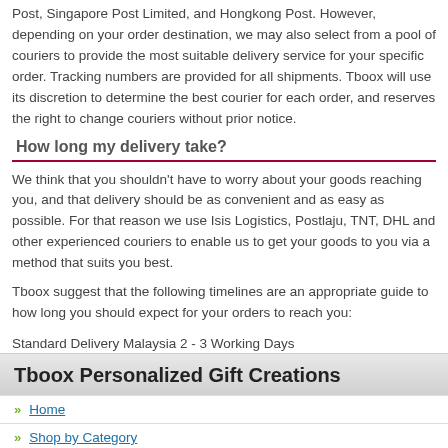Post, Singapore Post Limited, and Hongkong Post. However, depending on your order destination, we may also select from a pool of couriers to provide the most suitable delivery service for your specific order. Tracking numbers are provided for all shipments. Tboox will use its discretion to determine the best courier for each order, and reserves the right to change couriers without prior notice.
How long my delivery take?
We think that you shouldn't have to worry about your goods reaching you, and that delivery should be as convenient and as easy as possible. For that reason we use Isis Logistics, Postlaju, TNT, DHL and other experienced couriers to enable us to get your goods to you via a method that suits you best.
Tboox suggest that the following timelines are an appropriate guide to how long you should expect for your orders to reach you:
Standard Delivery Malaysia 2 - 3 Working Days
Standard Delivery Asia 3 - 7 Working Days
Standard Delivery US & Canada 7 - 10 Working Days
Standard Delivery Europe & Other 7 - 14 Working Days
Tboox Personalized Gift Creations
Home
Shop by Category